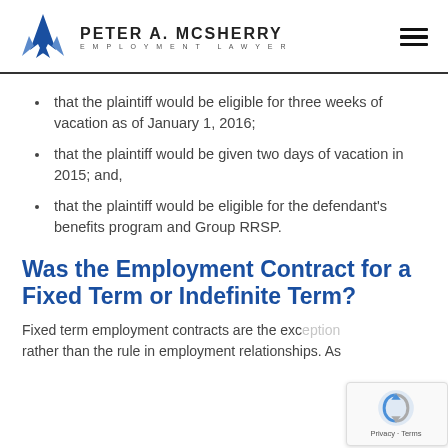[Figure (logo): Peter A. McSherry Employment Lawyer logo with blue arrow/wing graphic and hamburger menu icon]
that the plaintiff would be eligible for three weeks of vacation as of January 1, 2016;
that the plaintiff would be given two days of vacation in 2015; and,
that the plaintiff would be eligible for the defendant's benefits program and Group RRSP.
Was the Employment Contract for a Fixed Term or Indefinite Term?
Fixed term employment contracts are the exception rather than the rule in employment relationships. As
[Figure (logo): Google reCAPTCHA badge with Privacy and Terms text]